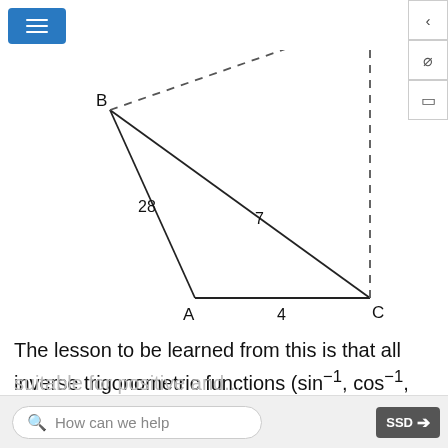[Figure (engineering-diagram): Triangle diagram showing triangle ABC with sides labeled. Point B is upper-left, point A is bottom-center, point C is bottom-right. Side BA is labeled 28, side from A going up-right is labeled 7. A dashed line extends from B upward to the right and from C vertically upward, indicating an ambiguous case triangle (SSA). The label '4' appears between A and C on the baseline.]
The lesson to be learned from this is that all inverse trigonometric functions (sin⁻¹, cos⁻¹, tan⁻¹) have two solutions between 0° and 360°. The function sin⁻¹ is